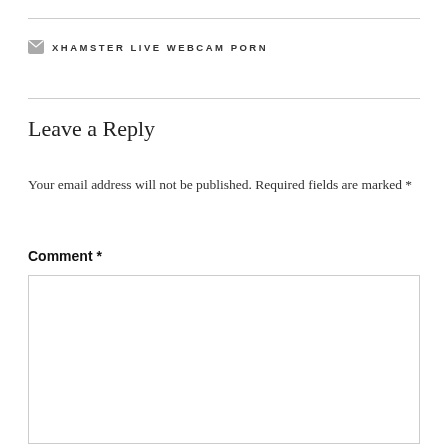XHAMSTER LIVE WEBCAM PORN
Leave a Reply
Your email address will not be published. Required fields are marked *
Comment *